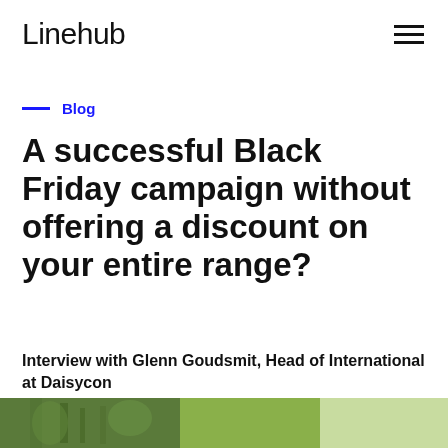Linehub
Blog
A successful Black Friday campaign without offering a discount on your entire range?
Interview with Glenn Goudsmit, Head of International at Daisycon
[Figure (photo): Partial bottom image showing plants/foliage, cropped at the bottom of the page]